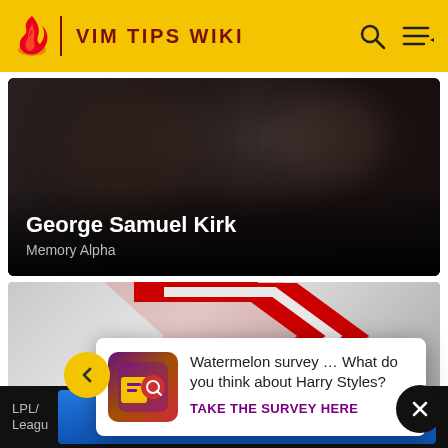VIM TIPS WIKI
[Figure (screenshot): Hero card showing George Samuel Kirk from Memory Alpha wiki with dark cinematic background]
George Samuel Kirk
Memory Alpha
[Figure (logo): Red angular arrow/chevron logo on grey gradient background (Fandom logo)]
[Figure (infographic): Survey popup with icon: Watermelon survey ... What do you think about Harry Styles? TAKE THE SURVEY HERE]
Watermelon survey … What do you think about Harry Styles?
TAKE THE SURVEY HERE
[Figure (logo): Best Buy advertisement banner with blue gradient background and white BEST BUY text with yellow tag logo]
LPL/
Leagu